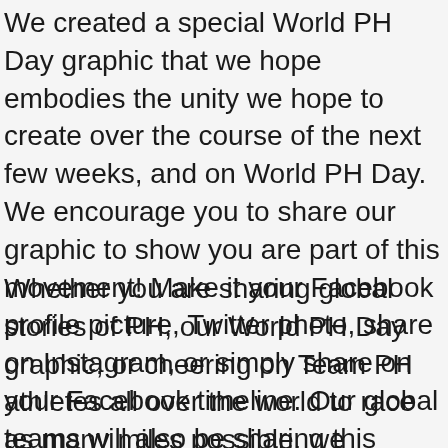We created a special World PH Day graphic that we hope embodies the unity we hope to create over the course of the next few weeks, and on World PH Day. We encourage you to share our graphic to show you are part of this movement! Make it your Facebook profile picture, Twitter photo, share on Instagram, or simply share on your Facebook timeline. Our global teams will also be sharing this special graphic in their languages as well.
Whether you are sharing global stories of PH, our World PH Day graphic, or cheering on Team PH athletes all over the world to race as many miles possible, we encourage you to join this global celebration, unity, and awareness with us. Learn more about our World PH Day efforts at